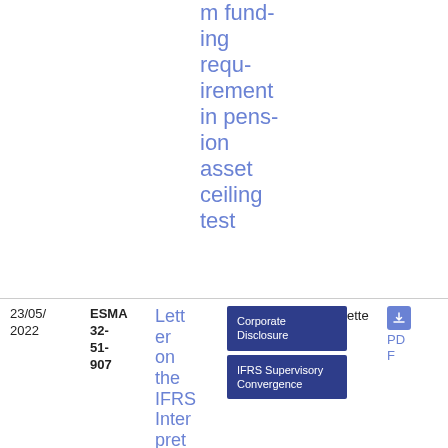m funding requirement in pension asset ceiling test
| Date | Reference | Title | Tags | Gazette | PDF | Size |
| --- | --- | --- | --- | --- | --- | --- |
| 23/05/2022 | ESMA 32-51-907 | Letter on the IFRS Interpret... | Corporate Disclosure | IFRS Supervisory Convergence |  | PDF | 110.67 KB |